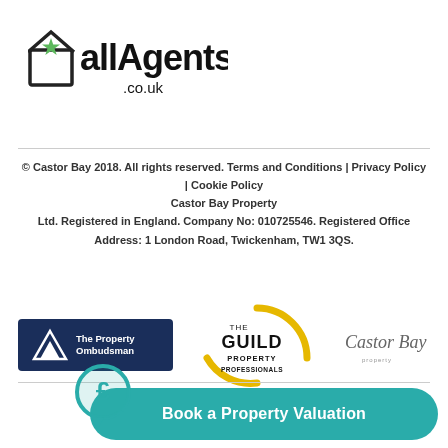[Figure (logo): allAgents.co.uk logo with green house/star icon and bold lowercase text]
© Castor Bay 2018. All rights reserved. Terms and Conditions | Privacy Policy | Cookie Policy
Castor Bay Property Ltd. Registered in England. Company No: 010725546. Registered Office Address: 1 London Road, Twickenham, TW1 3QS.
[Figure (logo): The Property Ombudsman logo — dark navy badge with white mountain/triangle icon and white text]
[Figure (logo): The Guild Property Professionals logo — gold arc/ellipse with black text]
[Figure (logo): Castor Bay Property — cursive script logo]
[Figure (other): Book a Property Valuation button — teal rounded pill with pound sign speech bubble icon and white text]